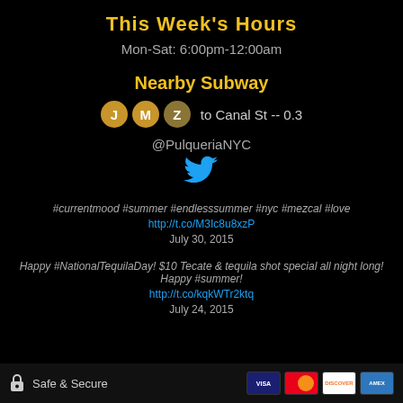This Week's Hours
Mon-Sat: 6:00pm-12:00am
Nearby Subway
J M Z to Canal St -- 0.3
@PulqueriaNYC
[Figure (logo): Twitter bird icon in blue]
#currentmood #summer #endlesssummer #nyc #mezcal #love
http://t.co/M3Ic8u8xzP
July 30, 2015
Happy #NationalTequilaDay! $10 Tecate & tequila shot special all night long! Happy #summer!
http://t.co/kqkWTr2ktq
July 24, 2015
Safe & Secure — Visa, Mastercard, Discover, American Express